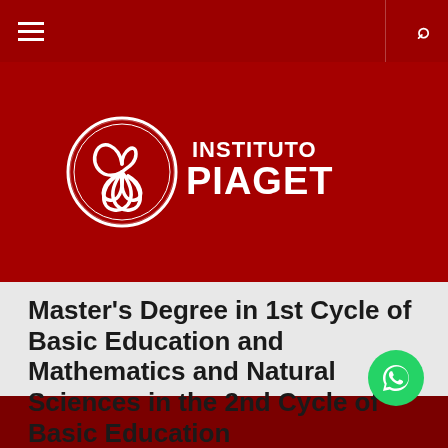[Figure (logo): Instituto Piaget logo with triskelion symbol and text INSTITUTO PIAGET on dark red background]
Master's Degree in 1st Cycle of Basic Education and Mathematics and Natural Sciences in the 2nd Cycle of Basic Education